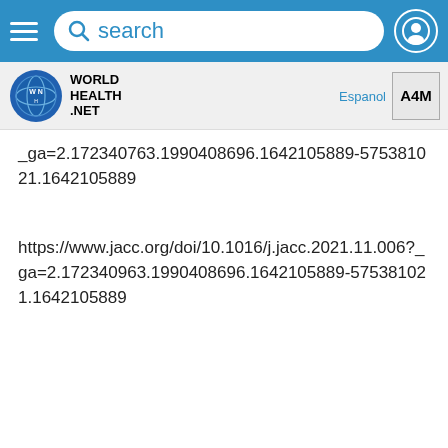[Figure (screenshot): Top navigation bar with hamburger menu, search bar, and profile icon on blue background]
[Figure (logo): World Health Net logo with blue globe icon and A4M badge, Espanol link]
_ga=2.172340963.1990408696.1642105889-575381021.1642105889
https://www.jacc.org/doi/10.1016/j.jacc.2021.11.006?_ga=2.172340963.1990408696.1642105889-575381021.1642105889